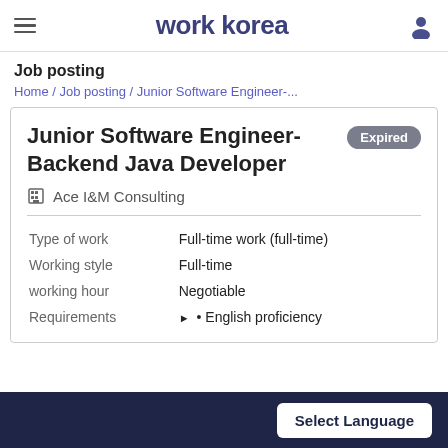work korea
Job posting
Home / Job posting / Junior Software Engineer-...
Junior Software Engineer-Backend Java Developer
Expired
Ace I&M Consulting
| Field | Value |
| --- | --- |
| Type of work | Full-time work (full-time) |
| Working style | Full-time |
| working hour | Negotiable |
| Requirements | ▶ • English proficiency |
Select Language